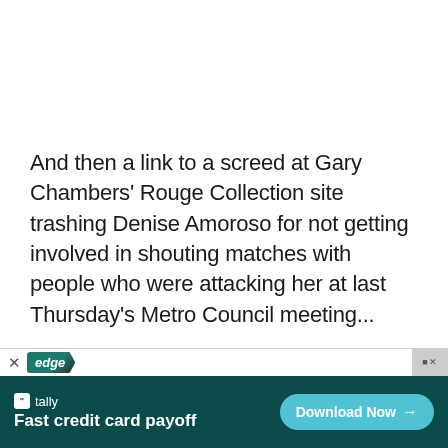And then a link to a screed at Gary Chambers' Rouge Collection site trashing Denise Amoroso for not getting involved in shouting matches with people who were attacking her at last Thursday's Metro Council meeting...
[Figure (screenshot): Browser advertisement bar at bottom of page showing 'edge' browser tab and a Tally app ad with 'Fast credit card payoff' text and 'Download Now' button on dark teal background]